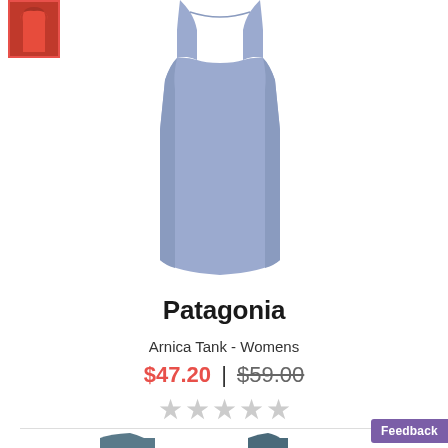[Figure (photo): Small red tank top thumbnail with red border selection indicator]
[Figure (photo): Main product image: light periwinkle/blue Patagonia Arnica Tank - Womens, shown on a mannequin, sleeveless with racerback styling]
Patagonia
Arnica Tank - Womens
$47.20 | $59.00
[Figure (other): 5-star rating display showing 0 out of 5 stars (all gray/empty stars)]
[Figure (photo): Partial bottom product images showing two dark blue/teal tank tops, cropped]
Feedback